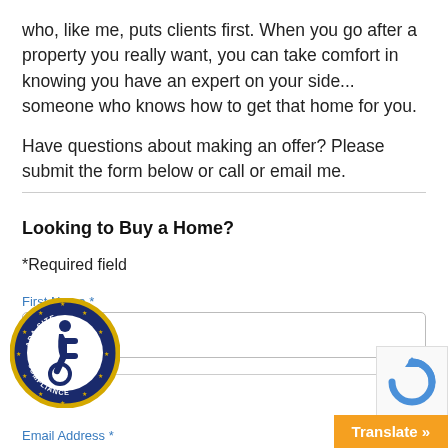who, like me, puts clients first. When you go after a property you really want, you can take comfort in knowing you have an expert on your side... someone who knows how to get that home for you.

Have questions about making an offer? Please submit the form below or call or email me.
Looking to Buy a Home?
*Required field
First Name *
Email Address *
[Figure (logo): ADA Site Compliance badge — circular navy blue badge with gold stars and accessibility wheelchair icon, text reads ADA SITE COMPLIANCE]
[Figure (other): reCAPTCHA widget icon]
Translate »